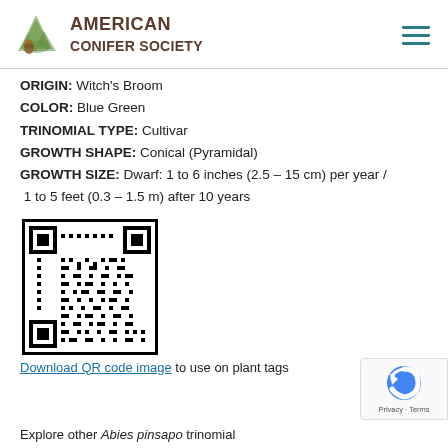AMERICAN CONIFER SOCIETY
ORIGIN: Witch's Broom
COLOR: Blue Green
TRINOMIAL TYPE: Cultivar
GROWTH SHAPE: Conical (Pyramidal)
GROWTH SIZE: Dwarf: 1 to 6 inches (2.5 – 15 cm) per year / 1 to 5 feet (0.3 – 1.5 m) after 10 years
[Figure (other): QR code image for download use on plant tags]
Download QR code image to use on plant tags
Explore other Abies pinsapo trinomial